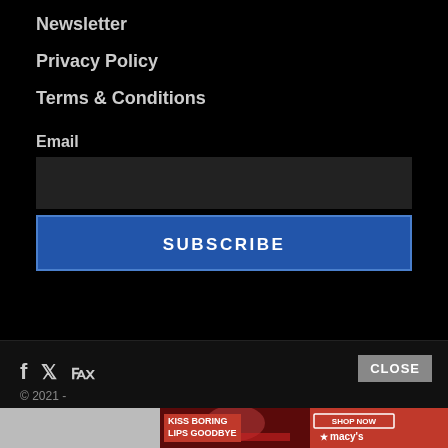Newsletter
Privacy Policy
Terms & Conditions
Email
SUBSCRIBE
© 2021 -
[Figure (screenshot): Advertisement banner: Kiss Boring Lips Goodbye with Shop Now button and Macy's logo]
CLOSE